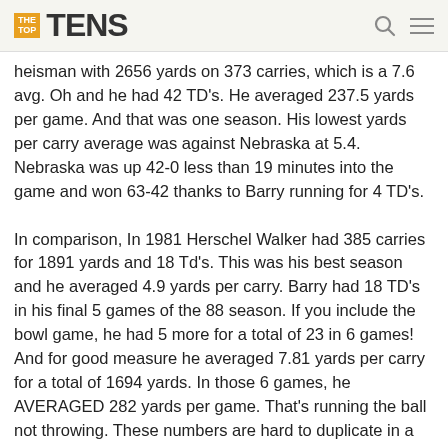THE TOP TENS
heisman with 2656 yards on 373 carries, which is a 7.6 avg. Oh and he had 42 TD's. He averaged 237.5 yards per game. And that was one season. His lowest yards per carry average was against Nebraska at 5.4. Nebraska was up 42-0 less than 19 minutes into the game and won 63-42 thanks to Barry running for 4 TD's.
In comparison, In 1981 Herschel Walker had 385 carries for 1891 yards and 18 Td's. This was his best season and he averaged 4.9 yards per carry. Barry had 18 TD's in his final 5 games of the 88 season. If you include the bowl game, he had 5 more for a total of 23 in 6 games! And for good measure he averaged 7.81 yards per carry for a total of 1694 yards. In those 6 games, he AVERAGED 282 yards per game. That's running the ball not throwing. These numbers are hard to duplicate in a video game!
To put into perspective just how good Barry was, in 2017 there was a post ...more